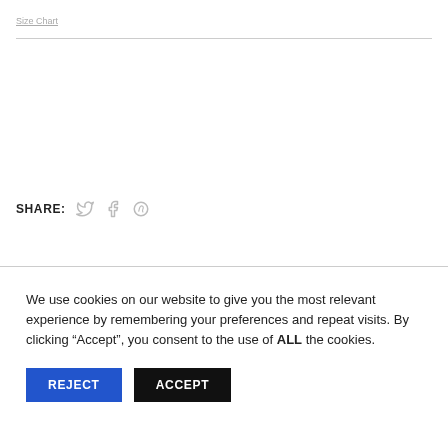Size Chart
SHARE:
We use cookies on our website to give you the most relevant experience by remembering your preferences and repeat visits. By clicking “Accept”, you consent to the use of ALL the cookies.
REJECT
ACCEPT